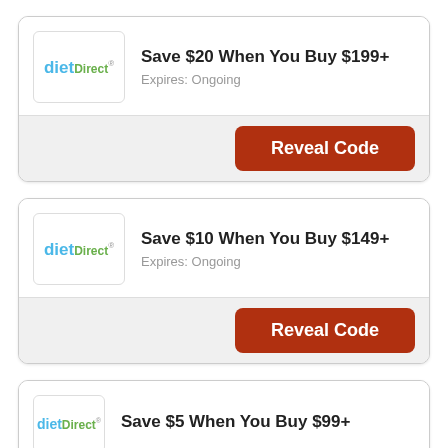[Figure (logo): Diet Direct logo - 'diet' in blue bold, 'Direct' in green bold smaller]
Save $20 When You Buy $199+
Expires: Ongoing
Reveal Code
[Figure (logo): Diet Direct logo - 'diet' in blue bold, 'Direct' in green bold smaller]
Save $10 When You Buy $149+
Expires: Ongoing
Reveal Code
[Figure (logo): Diet Direct logo - 'diet' in blue bold, 'Direct' in green bold smaller]
Save $5 When You Buy $99+